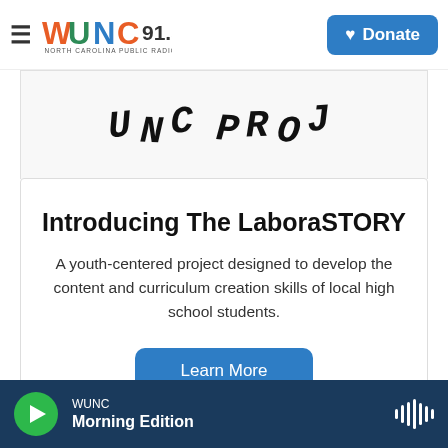WUNC 91.5 North Carolina Public Radio | Donate
[Figure (photo): Partially visible photograph showing letters spelling 'UNC PROJ' in a Letterboard or pin-board style, partially cropped at top]
Introducing The LaboraSTORY
A youth-centered project designed to develop the content and curriculum creation skills of local high school students.
Learn More
WUNC | Morning Edition